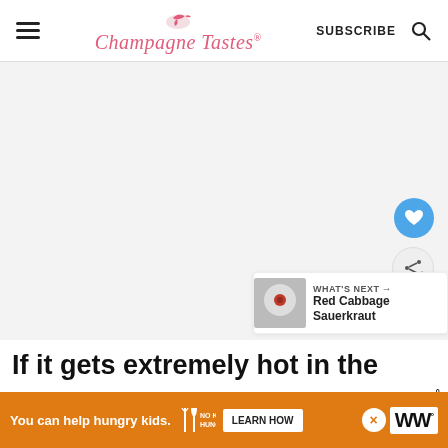ChampagneTastes® | SUBSCRIBE
[Figure (photo): Large food/recipe hero image area (mostly white/light gray placeholder), with a blue heart favorite button and a share button on the right side, and a 'What's Next → Red Cabbage Sauerkraut' thumbnail panel in the bottom-right corner.]
If it gets extremely hot in the summer w...ow°
You can help hungry kids. | NO KID HUNGRY | LEARN HOW